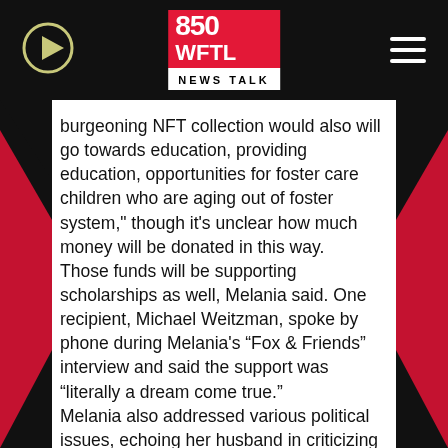850 WFTL NEWS TALK
burgeoning NFT collection would also  will go towards education, providing education, opportunities for foster care children who are aging out of foster system," though it's unclear how much money will be donated in this way.
Those funds will be supporting scholarships as well, Melania said. One recipient, Michael Weitzman, spoke by phone during Melania's “Fox & Friends” interview and said the support was “literally a dream come true.”
Melania also addressed various political issues, echoing her husband in criticizing President Joe Biden's administration on issues including border and immigration policy and the shortage of baby formula, which she called “unacceptable.”